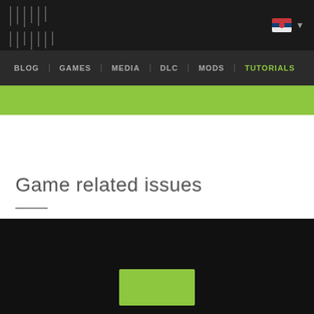[site logo / navigation header]
BLOG | GAMES | MEDIA | DLC | MODS | TUTORIALS
Game related issues